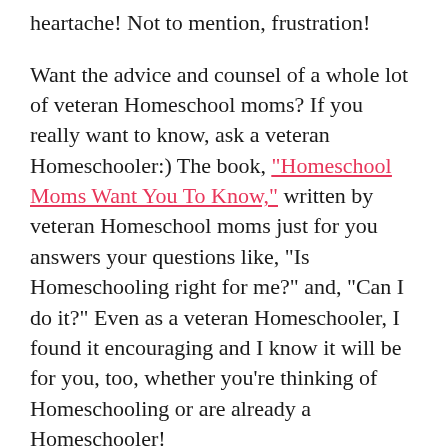heartache! Not to mention, frustration!
Want the advice and counsel of a whole lot of veteran Homeschool moms? If you really want to know, ask a veteran Homeschooler:) The book, “Homeschool Moms Want You To Know,” written by veteran Homeschool moms just for you answers your questions like, “Is Homeschooling right for me?” and, “Can I do it?” Even as a veteran Homeschooler, I found it encouraging and I know it will be for you, too, whether you’re thinking of Homeschooling or are already a Homeschooler!
Discover your child’s learning style!